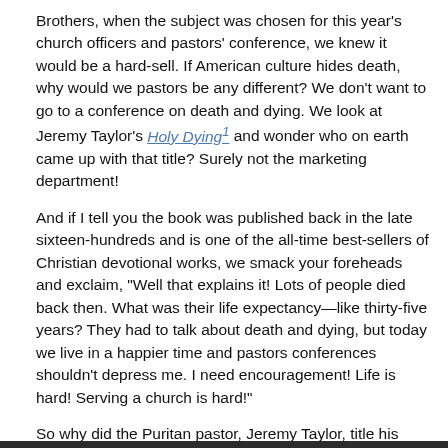Brothers, when the subject was chosen for this year's church officers and pastors' conference, we knew it would be a hard-sell. If American culture hides death, why would we pastors be any different? We don't want to go to a conference on death and dying. We look at Jeremy Taylor's Holy Dying¹ and wonder who on earth came up with that title? Surely not the marketing department!
And if I tell you the book was published back in the late sixteen-hundreds and is one of the all-time best-sellers of Christian devotional works, we smack your foreheads and exclaim, "Well that explains it! Lots of people died back then. What was their life expectancy—like thirty-five years? They had to talk about death and dying, but today we live in a happier time and pastors conferences shouldn’t depress me. I need encouragement! Life is hard! Serving a church is hard!"
So why did the Puritan pastor, Jeremy Taylor, title his classic Holy Dying?
Because Puritan pastors used to spend themselves...